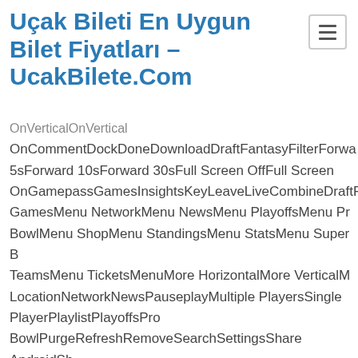Uçak Bileti En Uygun Bilet Fiyatları – UcakBilete.Com
OnVerticalOnVertical OnCommentDockDoneDownloadDraftFantasyFilterForward 5sForward 10sForward 30sFull Screen OffFull Screen OnGamepassGamesInsightsKeyLeaveLiveCombineDraftFa GamesMenu NetworkMenu NewsMenu PlayoffsMenu Pro BowlMenu ShopMenu StandingsMenu StatsMenu Super B TeamsMenu TicketsMenuMore HorizontalMore VerticalM LocationNetworkNewsPauseplayMultiple PlayersSingle PlayerPlaylistPlayoffsPro BowlPurgeRefreshRemoveSearchSettingsShare AndroidSh URLShare EmailShare FacebookShare InstagramShare iOS SnapchatShare TwitterSkip NextSkip PreviousStandingsStarStatsSwapTeamsTicketsVideoVisibili OffVisibility OnVolume HiVolume LowVolume MediumVolum